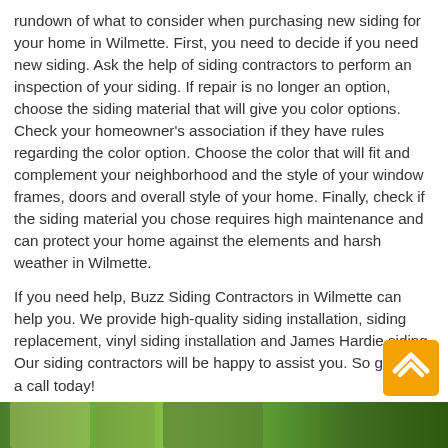rundown of what to consider when purchasing new siding for your home in Wilmette. First, you need to decide if you need new siding. Ask the help of siding contractors to perform an inspection of your siding. If repair is no longer an option, choose the siding material that will give you color options. Check your homeowner's association if they have rules regarding the color option. Choose the color that will fit and complement your neighborhood and the style of your window frames, doors and overall style of your home. Finally, check if the siding material you chose requires high maintenance and can protect your home against the elements and harsh weather in Wilmette.
If you need help, Buzz Siding Contractors in Wilmette can help you. We provide high-quality siding installation, siding replacement, vinyl siding installation and James Hardie siding. Our siding contractors will be happy to assist you. So give us a call today!
[Figure (photo): Partial photo strip at bottom of page showing trees/outdoor scene, mostly cut off]